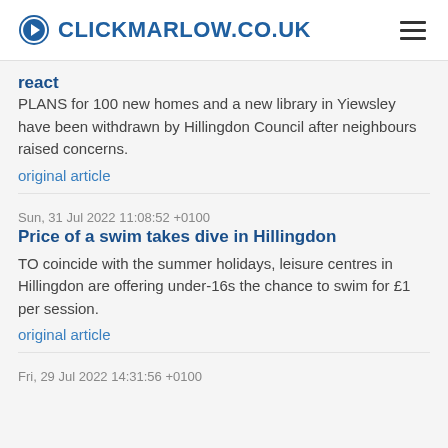CLICKMARLOW.CO.UK
react
PLANS for 100 new homes and a new library in Yiewsley have been withdrawn by Hillingdon Council after neighbours raised concerns.
original article
Sun, 31 Jul 2022 11:08:52 +0100
Price of a swim takes dive in Hillingdon
TO coincide with the summer holidays, leisure centres in Hillingdon are offering under-16s the chance to swim for £1 per session.
original article
Fri, 29 Jul 2022 14:31:56 +0100